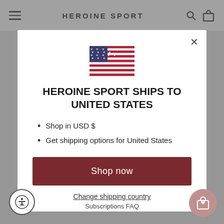HEROINE SPORT
[Figure (illustration): US flag emoji/icon centered in modal]
HEROINE SPORT SHIPS TO UNITED STATES
Shop in USD $
Get shipping options for United States
Shop now
Change shipping country
Subscriptions FAQ